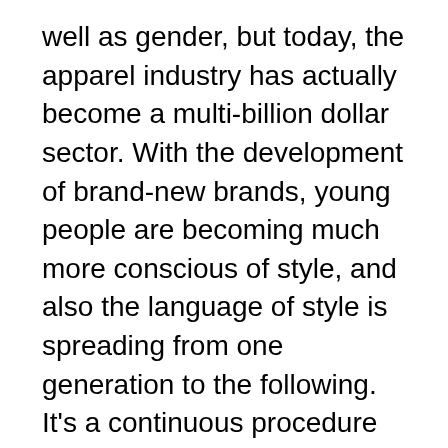well as gender, but today, the apparel industry has actually become a multi-billion dollar sector. With the development of brand-new brands, young people are becoming much more conscious of style, and also the language of style is spreading from one generation to the following. It's a continuous procedure that changes every now and then, as well as changing fads have actually aided the fashion business to grow and connect to a wide range of consumers.
An additional important aspect of fashion is style journalism. Fashion journalism is published in newspapers, magazines, and online. Fashion blog writers have actually ended up being a major outlet for sharing design tips and also fads, as well as the